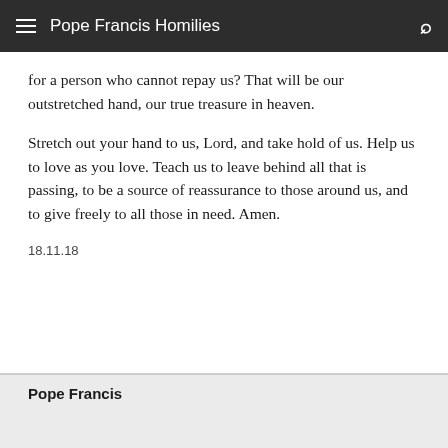Pope Francis Homilies
for a person who cannot repay us? That will be our outstretched hand, our true treasure in heaven.
Stretch out your hand to us, Lord, and take hold of us. Help us to love as you love. Teach us to leave behind all that is passing, to be a source of reassurance to those around us, and to give freely to all those in need. Amen.
18.11.18
Pope Francis
08.02.19     Holy Mass, Santa Marta
Mark 6: 14-29